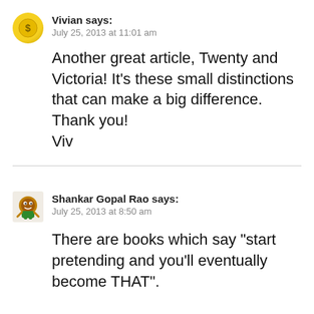Vivian says:
July 25, 2013 at 11:01 am
Another great article, Twenty and Victoria! It's these small distinctions that can make a big difference. Thank you!
Viv
Shankar Gopal Rao says:
July 25, 2013 at 8:50 am
There are books which say "start pretending and you'll eventually become THAT".